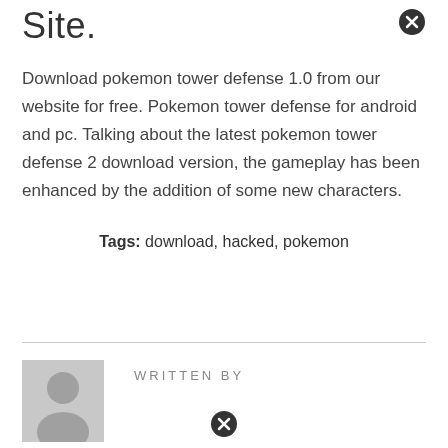Site.
Download pokemon tower defense 1.0 from our website for free. Pokemon tower defense for android and pc. Talking about the latest pokemon tower defense 2 download version, the gameplay has been enhanced by the addition of some new characters.
Tags: download, hacked, pokemon
WRITTEN BY